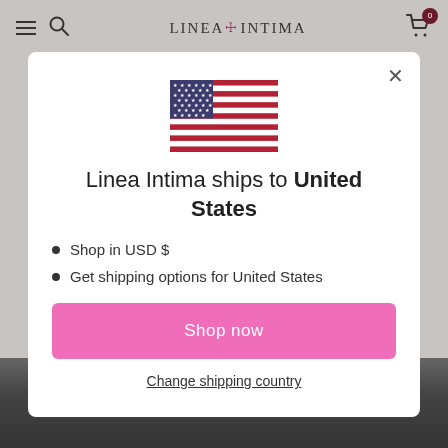LINEA INTIMA
[Figure (screenshot): Modal dialog on a retail website showing a US flag and shipping destination message]
Linea Intima ships to United States
Shop in USD $
Get shipping options for United States
Shop now
Change shipping country